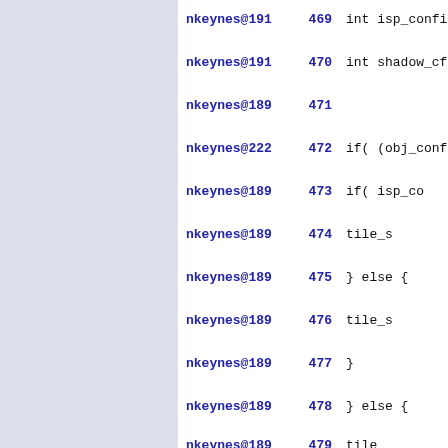nkeynes@191  469    int isp_config
nkeynes@191  470    int shadow_cfg
nkeynes@189  471
nkeynes@222  472    if( (obj_confi
nkeynes@189  473        if( isp_co
nkeynes@189  474            tile_s
nkeynes@189  475        } else {
nkeynes@189  476            tile_s
nkeynes@189  477        }
nkeynes@189  478    } else {
nkeynes@189  479    tile_